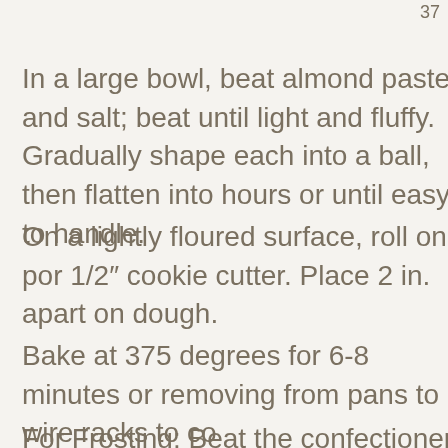37
In a large bowl, beat almond paste and salt; beat until light and fluffy. Gradually shape each into a ball, then flatten into hours or until easy to handle.
On a lightly floured surface, roll one por 1/2″ cookie cutter. Place 2 in. apart on dough.
Bake at 375 degrees for 6-8 minutes or removing from pans to wire racks to co
For Frosting: Beat the confectioners su minutes. Color frosting if desired. Fros